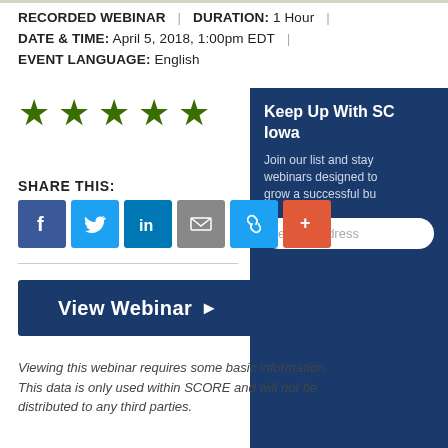RECORDED WEBINAR | DURATION: 1 Hour | DATE & TIME: April 5, 2018, 1:00pm EDT | EVENT LANGUAGE: English
[Figure (illustration): Five green filled star icons representing a 5-star rating]
[Figure (infographic): Dark blue sidebar panel with heading 'Keep Up With SCORE Iowa', text 'Join our list and stay up with webinars designed to grow a successful business', and an email address input field]
SHARE THIS:
[Figure (infographic): Social share buttons: Facebook (blue f), Twitter (blue bird), LinkedIn (blue in), Email (grey envelope), Link (blue chain), Share (orange)]
[Figure (infographic): Dark blue 'View Webinar' button with right arrow]
Viewing this webinar requires some basic information. This data is only used within SCORE and will not be distributed to any third parties.